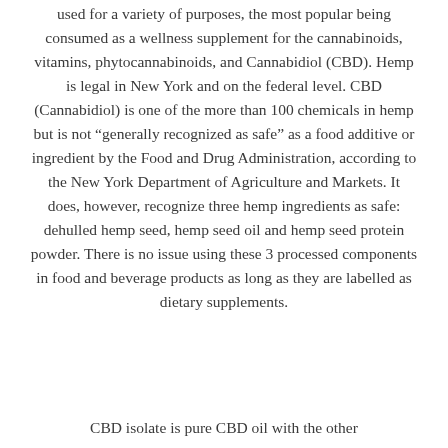used for a variety of purposes, the most popular being consumed as a wellness supplement for the cannabinoids, vitamins, phytocannabinoids, and Cannabidiol (CBD). Hemp is legal in New York and on the federal level. CBD (Cannabidiol) is one of the more than 100 chemicals in hemp but is not “generally recognized as safe” as a food additive or ingredient by the Food and Drug Administration, according to the New York Department of Agriculture and Markets. It does, however, recognize three hemp ingredients as safe: dehulled hemp seed, hemp seed oil and hemp seed protein powder. There is no issue using these 3 processed components in food and beverage products as long as they are labelled as dietary supplements.
CBD isolate is pure CBD oil with the other